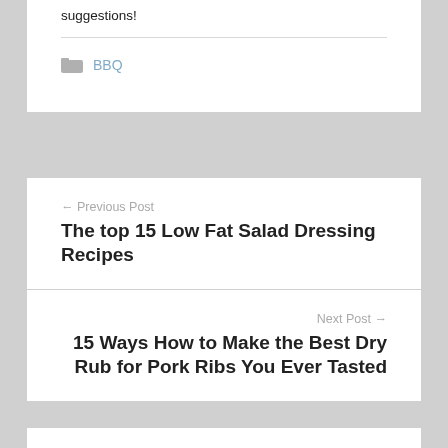suggestions!
BBQ
← Previous Post
The top 15 Low Fat Salad Dressing Recipes
Next Post →
15 Ways How to Make the Best Dry Rub for Pork Ribs You Ever Tasted